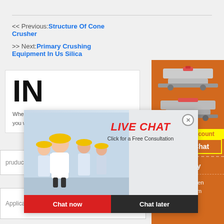<< Previous:Structure Of Cone Crusher
>> Next:Primary Crushing Equipment In Us Silica
[Figure (screenshot): Live chat popup overlay with workers in yellow hard hats, 'LIVE CHAT' in red, 'Click for a Free Consultation' subtitle, 'Chat now' red button and 'Chat later' dark button]
When... tailor... terms and other required details to you within 24 hours.
[Figure (photo): Orange sidebar with industrial crusher machine photos, Enjoy 3% discount, Click to Chat button]
Enquiry
limingjlmofen@sina.com
pruduct*
Application*